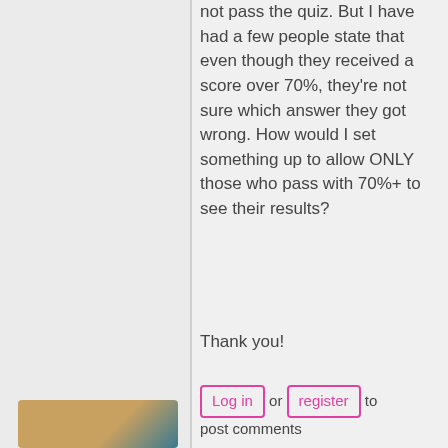not pass the quiz. But I have had a few people state that even though they received a score over 70%, they're not sure which answer they got wrong. How would I set something up to allow ONLY those who pass with 70%+ to see their results?
Thank you!
Log in or register to post comments
[Figure (photo): Partial avatar/profile photo of a person, cropped at bottom of page]